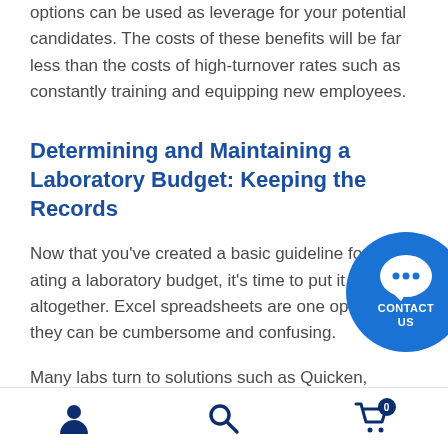options can be used as leverage for your potential candidates. The costs of these benefits will be far less than the costs of high-turnover rates such as constantly training and equipping new employees.
Determining and Maintaining a Laboratory Budget: Keeping the Records
Now that you've created a basic guideline for creating a laboratory budget, it's time to put it altogether. Excel spreadsheets are one option, but they can be cumbersome and confusing.
Many labs turn to solutions such as Quicken, QuickBooks, and other online budget software.
[Figure (other): Blue circular contact us chat button with speech bubble icon and CONTACT US text]
Navigation bar with user icon, search icon, and cart icon with badge 0